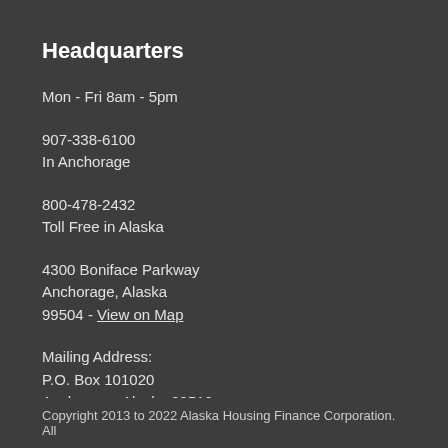Headquarters
Mon - Fri 8am - 5pm
907-338-6100
In Anchorage
800-478-2432
Toll Free in Alaska
4300 Boniface Parkway
Anchorage, Alaska
99504 - View on Map
Mailing Address:
P.O. Box 101020
Anchorage, Alaska 99510
Copyright 2013 to 2022 Alaska Housing Finance Corporation. All